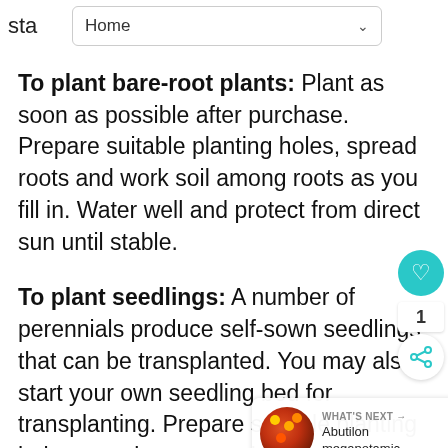sta  Home
To plant bare-root plants: Plant as soon as possible after purchase. Prepare suitable planting holes, spread roots and work soil among roots as you fill in. Water well and protect from direct sun until stable.
To plant seedlings: A number of perennials produce self-sown seedlings that can be transplanted. You may also start your own seedling bed for transplanting. Prepare suitable planting holes, spacing appropriate for plant development. Gently lift the seedling and as much surrounding soil as po your garden trowel, and replant it immediately,
[Figure (screenshot): UI overlay showing heart/favorite button (teal circle), share count (1), share icon button, and a 'What's Next' card showing Abutilon megapotamic... with a circular photo]